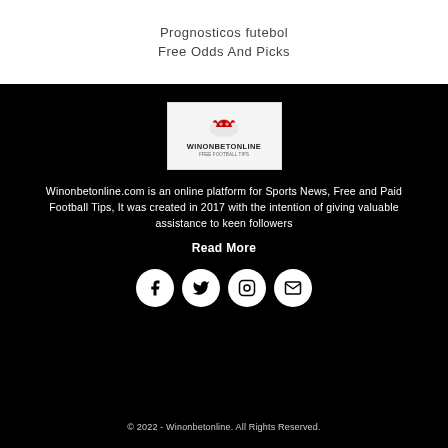Prognosticos futebol
Free Odds And Picks
[Figure (logo): Winonbetonline logo with red devil mascot and site name]
Winonbetonline.com is an online platform for Sports News, Free and Paid Football Tips, It was created in 2017 with the intention of giving valuable assistance to keen followers
Read More
[Figure (infographic): Social media icons: Facebook, Twitter, Instagram, Email]
© 2022 - Winonbetonline. All Rights Reserved.